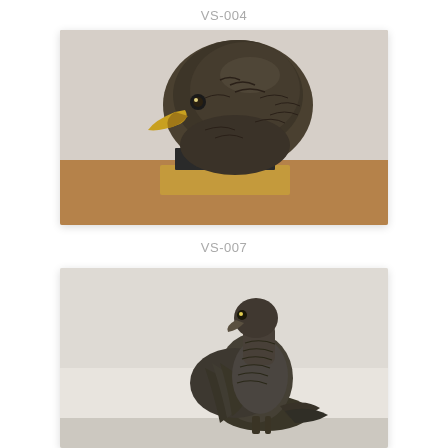VS-004
[Figure (photo): Bronze sculpture of an eagle head bust with golden beak, mounted on a dark rectangular base on a wooden platform. The feathers are highly detailed in dark bronze finish.]
VS-007
[Figure (photo): Bronze sculpture of a full eagle perched on a base, looking upward with detailed feather work in dark bronze finish.]